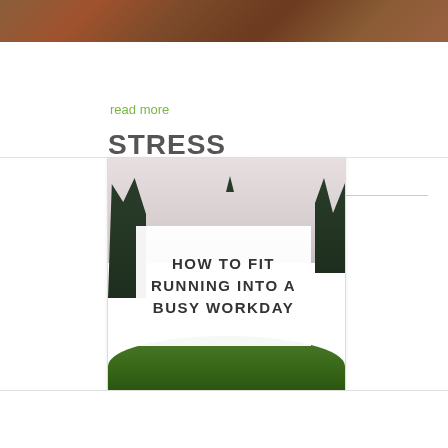[Figure (photo): Top portion of a nature/outdoor scene with rusty brown texture, cropped at top of page]
read more
STRESS MANAGEMENT
[Figure (photo): Outdoor nature scene showing misty sky, evergreen trees on left and right, green rolling hills in foreground, with a white sign overlay reading HOW TO FIT RUNNING INTO A BUSY WORKDAY]
read more